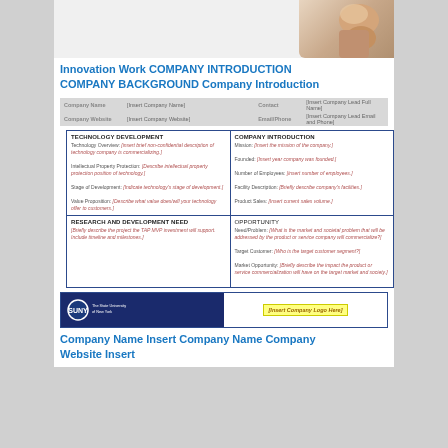[Figure (photo): A hand holding something (light bulb or object), partially cropped in upper right corner of page header area]
Innovation Work COMPANY INTRODUCTION COMPANY BACKGROUND Company Introduction
| Company Name | [Insert Company Name] | Contact | [Insert Company Lead Full Name] | Company Website | [Insert Company Website] | Email/Phone | [Insert Company Lead Email and Phone] |
| --- | --- | --- | --- | --- | --- | --- | --- |
| TECHNOLOGY DEVELOPMENT | COMPANY INTRODUCTION |
| --- | --- |
| Technology Overview: [insert brief non-confidential description of technology company is commercializing.]

Intellectual Property Protection: [Describe intellectual property protection position of technology.]

Stage of Development: [Indicate technology's stage of development.]

Value Proposition: [Describe what value does/will your technology offer to customers.] | Mission: [Insert the mission of the company.]

Founded: [Insert year company was founded.]

Number of Employees: [insert number of employees.]

Facility Description: [Briefly describe company's facilities.]

Product Sales: [Insert current sales volume.] |
| RESEARCH AND DEVELOPMENT NEED
[Briefly describe the project the TAP MVP investment will support. Include timeline and milestones.] | OPPORTUNITY
Need/Problem: [What is the market and societal problem that will be addressed by the product or service company will commercialize?]

Target Customer: [Who is the target customer segment?]

Market Opportunity: [Briefly describe the impact the product or service commercialization will have on the target market and society.] |
[Figure (logo): SUNY logo on dark blue background on the left side of footer row]
[Insert Company Logo Here]
Company Name Insert Company Name Company Website Insert